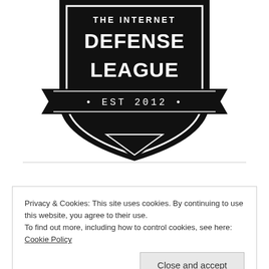[Figure (logo): The Internet Defense League shield logo with text 'THE INTERNET DEFENSE LEAGUE' and '• EST 2012 •' on a black badge with ribbon banner]
Privacy & Cookies: This site uses cookies. By continuing to use this website, you agree to their use.
To find out more, including how to control cookies, see here: Cookie Policy
Close and accept